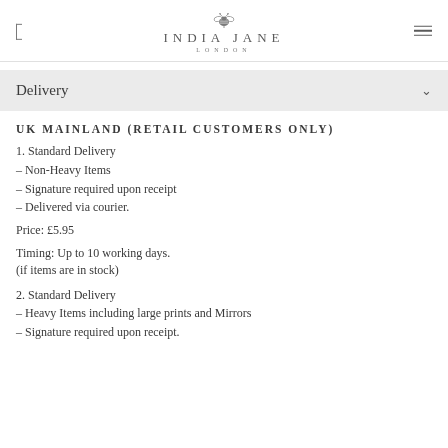INDIA JANE LONDON
Delivery
UK MAINLAND (RETAIL CUSTOMERS ONLY)
1. Standard Delivery
– Non-Heavy Items
– Signature required upon receipt
– Delivered via courier.
Price: £5.95
Timing: Up to 10 working days.
(if items are in stock)
2. Standard Delivery
– Heavy Items including large prints and Mirrors
– Signature required upon receipt.